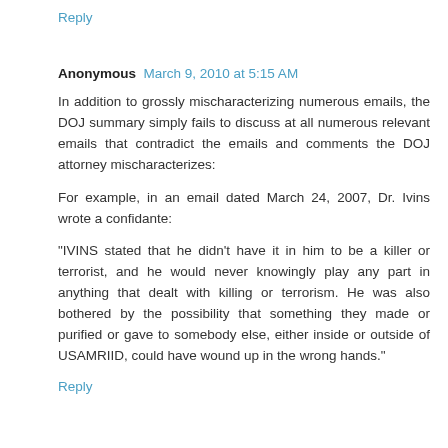Reply
Anonymous  March 9, 2010 at 5:15 AM
In addition to grossly mischaracterizing numerous emails, the DOJ summary simply fails to discuss at all numerous relevant emails that contradict the emails and comments the DOJ attorney mischaracterizes:
For example, in an email dated March 24, 2007, Dr. Ivins wrote a confidante:
"IVINS stated that he didn't have it in him to be a killer or terrorist, and he would never knowingly play any part in anything that dealt with killing or terrorism. He was also bothered by the possibility that something they made or purified or gave to somebody else, either inside or outside of USAMRIID, could have wound up in the wrong hands."
Reply